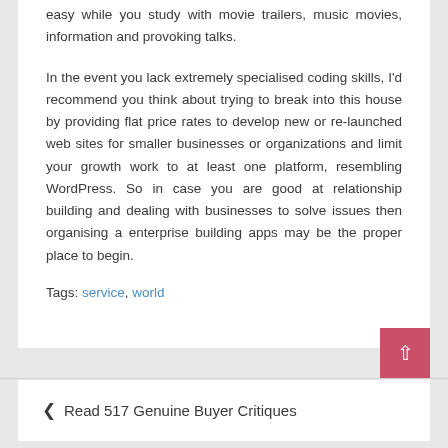easy while you study with movie trailers, music movies, information and provoking talks.
In the event you lack extremely specialised coding skills, I'd recommend you think about trying to break into this house by providing flat price rates to develop new or re-launched web sites for smaller businesses or organizations and limit your growth work to at least one platform, resembling WordPress. So in case you are good at relationship building and dealing with businesses to solve issues then organising a enterprise building apps may be the proper place to begin.
Tags: service, world
Read 517 Genuine Buyer Critiques